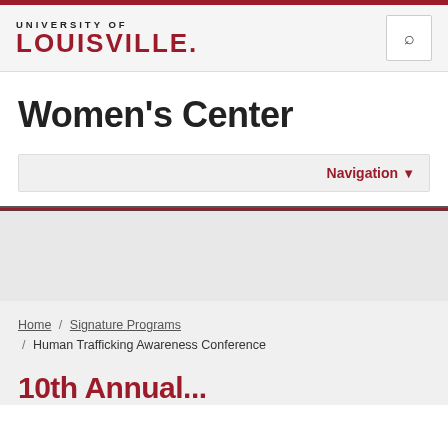[Figure (logo): University of Louisville logo with red wordmark]
Women's Center
Navigation ▼
[Figure (photo): Gray placeholder image area]
Home / Signature Programs / Human Trafficking Awareness Conference
10th Annual...